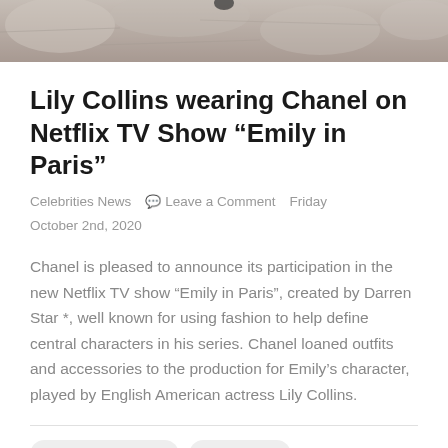[Figure (photo): Partial photo strip at top of page showing stone/cobblestone texture in gray tones]
Lily Collins wearing Chanel on Netflix TV Show “Emily in Paris”
Celebrities News  💬 Leave a Comment  Friday October 2nd, 2020
Chanel is pleased to announce its participation in the new Netflix TV show “Emily in Paris”, created by Darren Star *, well known for using fashion to help define central characters in his series. Chanel loaned outfits and accessories to the production for Emily’s character, played by English American actress Lily Collins.
American actress
celebrities
Celebrities Chanel
Celebrities dress